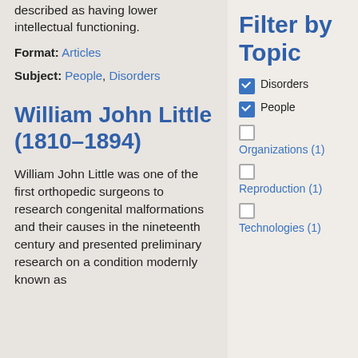described as having lower intellectual functioning.
Format: Articles
Subject: People, Disorders
William John Little (1810–1894)
William John Little was one of the first orthopedic surgeons to research congenital malformations and their causes in the nineteenth century and presented preliminary research on a condition modernly known as
Filter by Topic
Disorders (checked)
People (checked)
Organizations (1)
Reproduction (1)
Technologies (1)